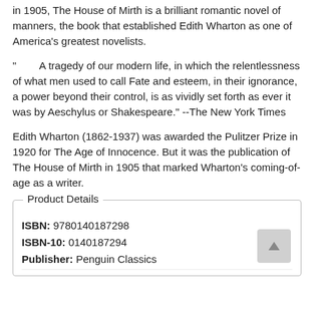in 1905, The House of Mirth is a brilliant romantic novel of manners, the book that established Edith Wharton as one of America's greatest novelists.
"        A tragedy of our modern life, in which the relentlessness of what men used to call Fate and esteem, in their ignorance, a power beyond their control, is as vividly set forth as ever it was by Aeschylus or Shakespeare." --The New York Times
Edith Wharton (1862-1937) was awarded the Pulitzer Prize in 1920 for The Age of Innocence. But it was the publication of The House of Mirth in 1905 that marked Wharton's coming-of-age as a writer.
Product Details
ISBN: 9780140187298
ISBN-10: 0140187294
Publisher: Penguin Classics